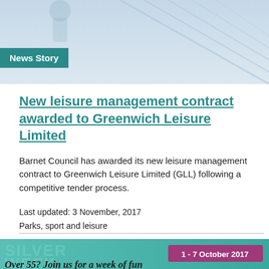[Figure (photo): Blue sky and architectural structure (possibly a sports or leisure facility roof), top portion of the page]
News Story
New leisure management contract awarded to Greenwich Leisure Limited
Barnet Council has awarded its new leisure management contract to Greenwich Leisure Limited (GLL) following a competitive tender process.
Last updated: 3 November, 2017
Parks, sport and leisure
[Figure (photo): Silver Week promotional banner showing '1 - 7 October 2017' and text 'Over 55? Join us for a week of fun']